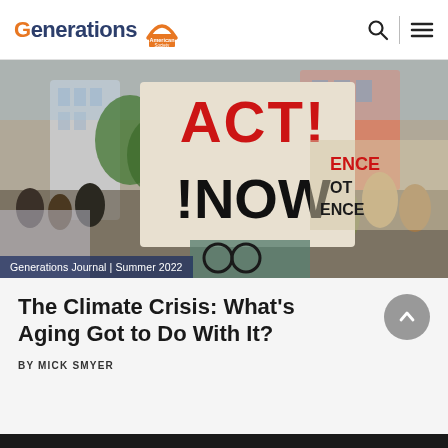Generations | American Society on Aging
[Figure (photo): Crowd of protesters at a climate rally, with a person holding a large sign reading 'ACT! !NOW' in red and black letters. Banner overlay reads 'Generations Journal | Summer 2022'.]
Generations Journal | Summer 2022
The Climate Crisis: What's Aging Got to Do With It?
BY MICK SMYER